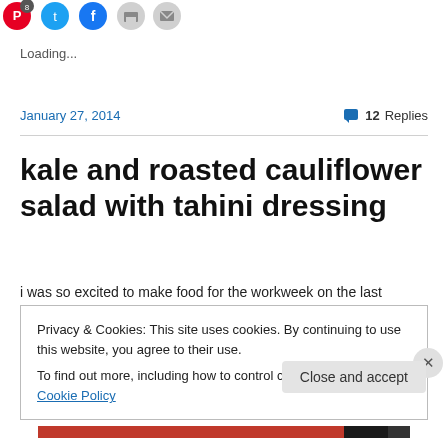[Figure (screenshot): Social sharing icon buttons (Pinterest with badge 8, Twitter blue, Facebook blue, print icon, email icon) at the top of a blog page]
Loading...
January 27, 2014    💬 12 Replies
kale and roasted cauliflower salad with tahini dressing
i was so excited to make food for the workweek on the last
Privacy & Cookies: This site uses cookies. By continuing to use this website, you agree to their use.
To find out more, including how to control cookies, see here: Cookie Policy
Close and accept